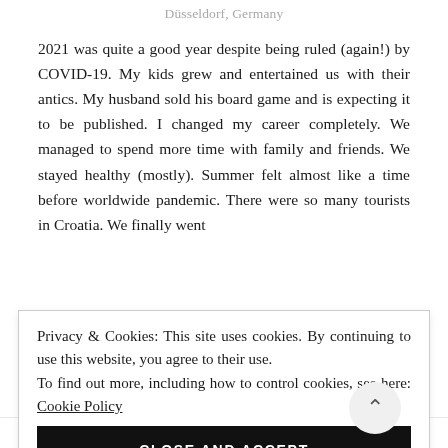Düsseldorf, Germany
2021 was quite a good year despite being ruled (again!) by COVID-19. My kids grew and entertained us with their antics. My husband sold his board game and is expecting it to be published. I changed my career completely. We managed to spend more time with family and friends. We stayed healthy (mostly). Summer felt almost like a time before worldwide pandemic. There were so many tourists in Croatia. We finally went
Privacy & Cookies: This site uses cookies. By continuing to use this website, you agree to their use.
To find out more, including how to control cookies, see here: Cookie Policy
views/visits to my blog increased significantly. 2021 was